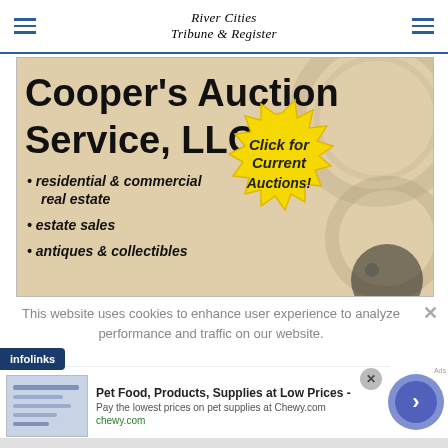River Cities Tribune & Register
[Figure (illustration): Cooper's Auction Service, LLC advertisement. Shows business name in large bold text, bullet points listing: residential & commercial real estate, estate sales, antiques & collectibles. Yellow starburst graphic with text 'Click for Current Auctions!' and decorative gear/chain background.]
This website uses cookies to enhance user experience to analyze performance and traffic on our website.
[Figure (logo): infolinks logo badge in dark blue]
[Figure (screenshot): Bottom advertisement: Pet Food, Products, Supplies at Low Prices - Pay the lowest prices on pet supplies at Chewy.com — chewy.com]